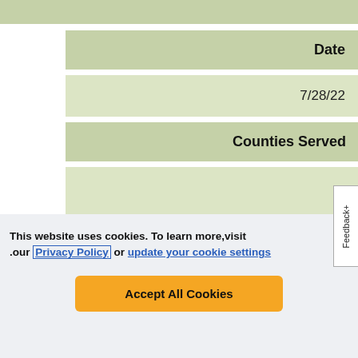| Date | Counties Served |
| --- | --- |
| 7/28/22 |  |
This website uses cookies. To learn more, visit our Privacy Policy or update your cookie settings
Accept All Cookies